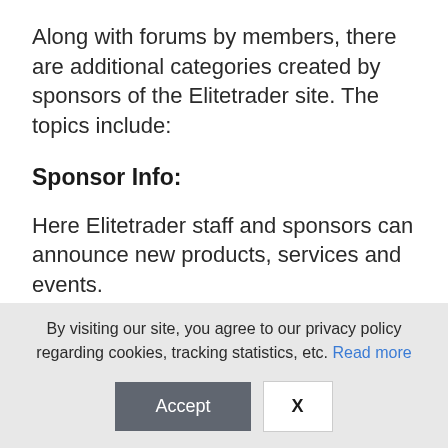Along with forums by members, there are additional categories created by sponsors of the Elitetrader site. The topics include:
Sponsor Info:
Here Elitetrader staff and sponsors can announce new products, services and events.
General Topics:
By visiting our site, you agree to our privacy policy regarding cookies, tracking statistics, etc. Read more